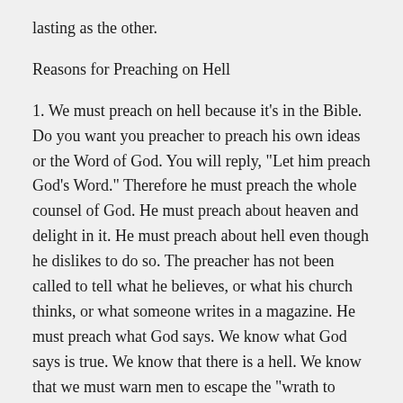lasting as the other.
Reasons for Preaching on Hell
1. We must preach on hell because it's in the Bible. Do you want you preacher to preach his own ideas or the Word of God. You will reply, "Let him preach God's Word." Therefore he must preach the whole counsel of God. He must preach about heaven and delight in it. He must preach about hell even though he dislikes to do so. The preacher has not been called to tell what he believes, or what his church thinks, or what someone writes in a magazine. He must preach what God says. We know what God says is true. We know that there is a hell. We know that we must warn men to escape the "wrath to come".
So, let today's preacher preach on hell. But let him preach it in love. A great teacher once said, "Young men, you should